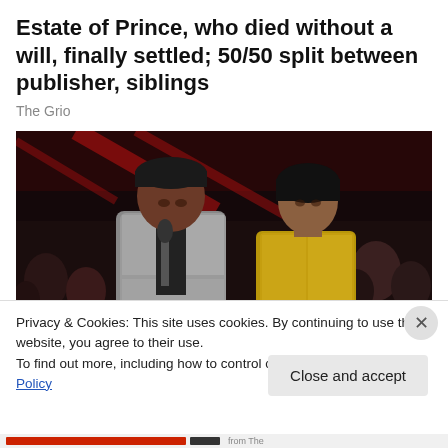Estate of Prince, who died without a will, finally settled; 50/50 split between publisher, siblings
The Grio
[Figure (photo): Two people on a stage: a man wearing a black cap and silver sequined jacket holding a microphone, and a woman in a gold/silver halter dress, against a dark red-lit background with audience members visible.]
Privacy & Cookies: This site uses cookies. By continuing to use this website, you agree to their use.
To find out more, including how to control cookies, see here: Cookie Policy